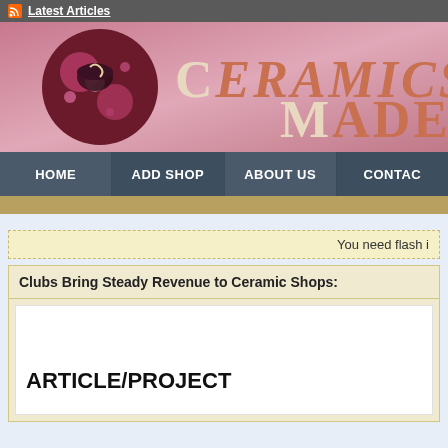Latest Articles
[Figure (logo): Ceramics Made website banner with decorative logo circle on left and stylized text 'Ceramics Made' on pink/rose background]
HOME | ADD SHOP | ABOUT US | CONTAC
You need flash i
Clubs Bring Steady Revenue to Ceramic Shops:
ARTICLE/PROJECT